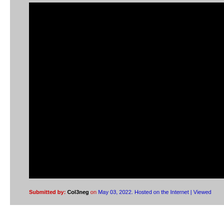[Figure (photo): Large black rectangle representing a hosted image or video, mostly black with a gray border around it.]
Submitted by: Col3neg on May 03, 2022. Hosted on the Internet | Viewed